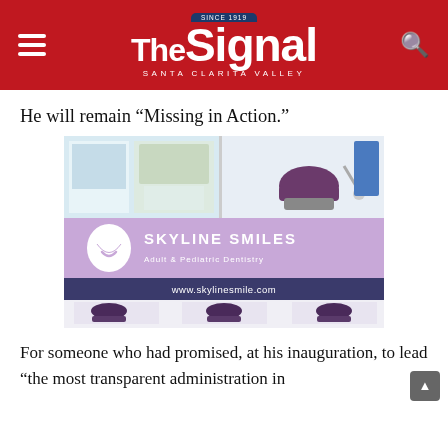The Signal — Santa Clarita Valley
He will remain “Missing in Action.”
[Figure (photo): Skyline Smiles dental office advertisement showing dental chairs, reception area, and the Skyline Smiles Adult & Pediatric Dentistry branding with www.skylinesmile.com]
For someone who had promised, at his inauguration, to lead “the most transparent administration in